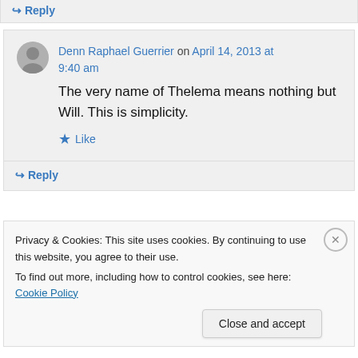↪ Reply
Denn Raphael Guerrier on April 14, 2013 at 9:40 am
The very name of Thelema means nothing but Will. This is simplicity.
★ Like
↪ Reply
Privacy & Cookies: This site uses cookies. By continuing to use this website, you agree to their use.
To find out more, including how to control cookies, see here: Cookie Policy
Close and accept